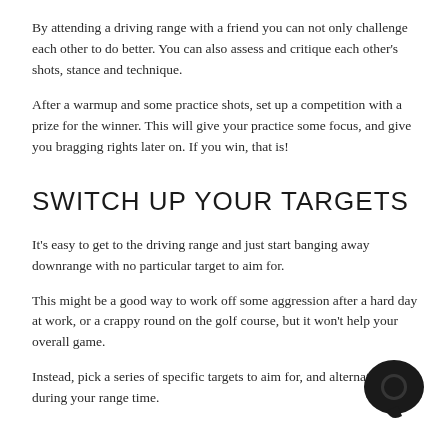By attending a driving range with a friend you can not only challenge each other to do better. You can also assess and critique each other's shots, stance and technique.
After a warmup and some practice shots, set up a competition with a prize for the winner. This will give your practice some focus, and give you bragging rights later on. If you win, that is!
SWITCH UP YOUR TARGETS
It's easy to get to the driving range and just start banging away downrange with no particular target to aim for.
This might be a good way to work off some aggression after a hard day at work, or a crappy round on the golf course, but it won't help your overall game.
Instead, pick a series of specific targets to aim for, and alternate them during your range time.
[Figure (illustration): Dark circular chat bubble icon in the bottom right corner]